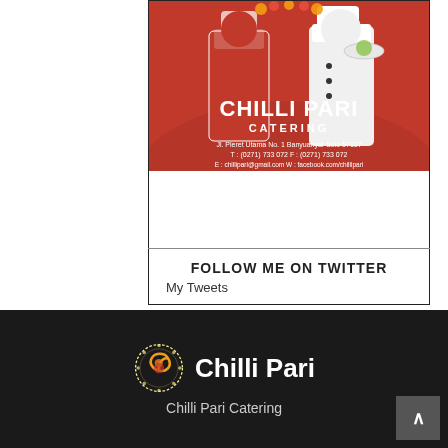[Figure (photo): Advertisement for Chilli Pari Catering showing two chefs in red and white uniforms against a red background. Large white text reads CHILLI PARI CATERING with contact details: Jl. Pleret Utama No. 1 Banyuanyar Solo 57137, T: (0271) 733 072 F: (0271) 733 072, E: chillipari@gmail.com W: facebook.com/chillipari]
FOLLOW ME ON TWITTER
My Tweets
[Figure (logo): Chilli Pari logo: circular swirl emblem in orange/gold on dark background, next to text 'Chilli Pari' in white. Below: 'Chilli Pari Catering']